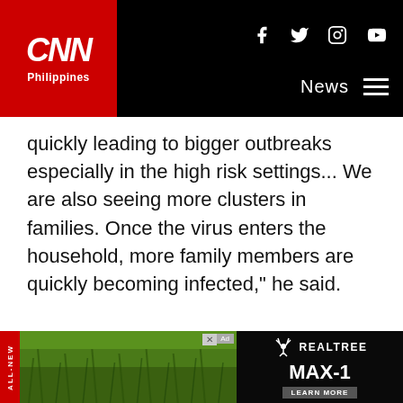CNN Philippines navigation header with logo and social icons
quickly leading to bigger outbreaks especially in the high risk settings... We are also seeing more clusters in families. Once the virus enters the household, more family members are quickly becoming infected," he said.
ADVERTISEMENT
[Figure (screenshot): Game advertisement banner: 'Love this game Can't stop playing! Download Now' on colorful gradient background]
[Figure (screenshot): Bottom advertisement banner for Realtree MAX-1 with 'ALL-NEW' tag and 'LEARN MORE' button]